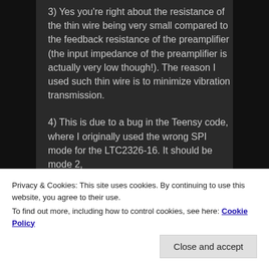3) Yes you're right about the resistance of the thin wire being very small compared to the feedback resistance of the preamplifier (the input impedance of the preamplifier is actually very low though!). The reason I used such thin wire is to minimize vibration transmission.
4) This is due to a bug in the Teensy code, where I originally used the wrong SPI mode for the LTC2326-16. It should be mode 2,
Privacy & Cookies: This site uses cookies. By continuing to use this website, you agree to their use.
To find out more, including how to control cookies, see here: Cookie Policy
Close and accept
SPI_MODE2;